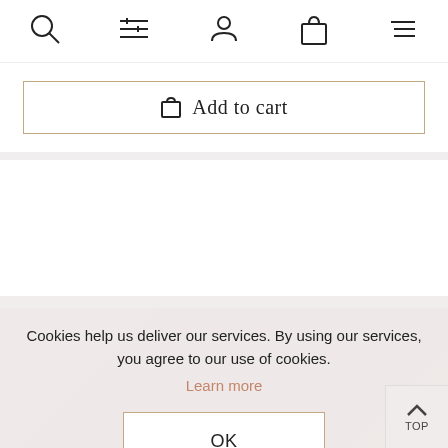Navigation bar with icons: search, filter, user, bag, menu
[Figure (screenshot): Add to cart button with shopping bag icon and border]
Cookies help us deliver our services. By using our services, you agree to our use of cookies.
Learn more
OK